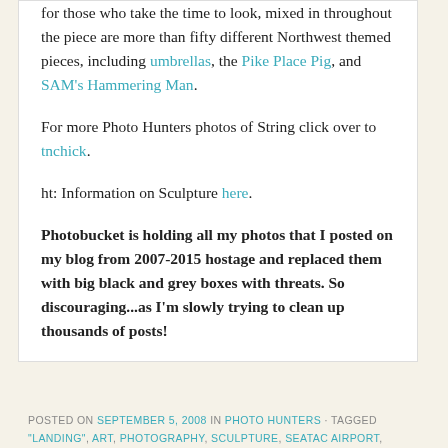for those who take the time to look, mixed in throughout the piece are more than fifty different Northwest themed pieces, including umbrellas, the Pike Place Pig, and SAM's Hammering Man.
For more Photo Hunters photos of String click over to tnchick.
ht: Information on Sculpture here.
Photobucket is holding all my photos that I posted on my blog from 2007-2015 hostage and replaced them with big black and grey boxes with threats. So discouraging...as I'm slowly trying to clean up thousands of posts!
POSTED ON SEPTEMBER 5, 2008 IN PHOTO HUNTERS · TAGGED "LANDING", ART, PHOTOGRAPHY, SCULPTURE, SEATAC AIRPORT,